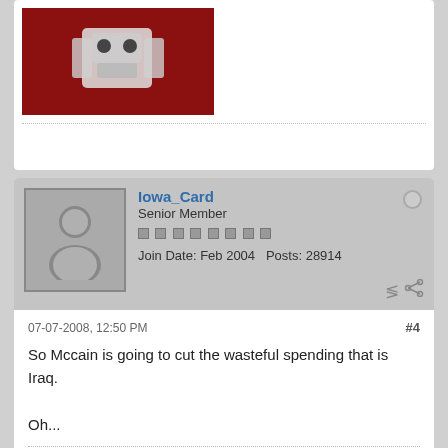[Figure (photo): Partial view of a user avatar showing an illustration on a red background (robot/mech character)]
Iowa_Card
Senior Member
Join Date: Feb 2004  Posts: 28914
07-07-2008, 12:50 PM  #4
So Mccain is going to cut the wasteful spending that is Iraq.
Oh...
ChiTownBluesFan
Senior Member
Join Date: Mar 2004  Posts: 23250